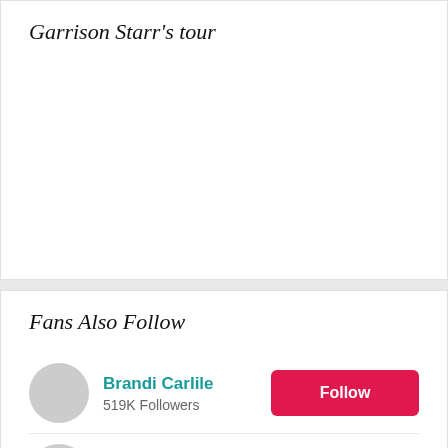Garrison Starr's tour
Fans Also Follow
Brandi Carlile
519K Followers
Dolly Parton